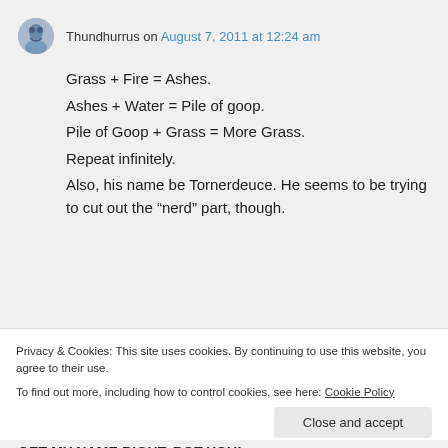Thundhurrus on August 7, 2011 at 12:24 am
Grass + Fire = Ashes.
Ashes + Water = Pile of goop.
Pile of Goop + Grass = More Grass.
Repeat infinitely.
Also, his name be Tornerdeuce. He seems to be trying to cut out the “nerd” part, though.
Privacy & Cookies: This site uses cookies. By continuing to use this website, you agree to their use.
To find out more, including how to control cookies, see here: Cookie Policy
Close and accept
GET MY NAME RIGHT, ROT YOU!